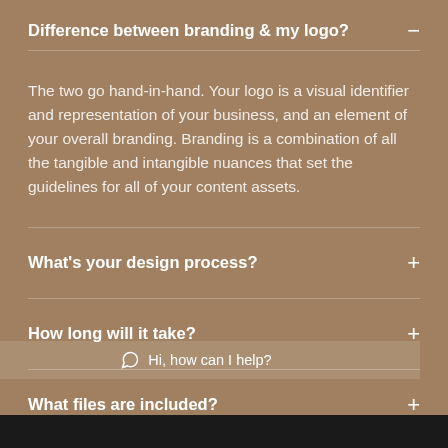Difference between branding & my logo?
The two go hand-in-hand. Your logo is a visual identifier and representation of your business, and an element of your overall branding. Branding is a combination of all the tangible and intangible nuances that set the guidelines for all of your content assets.
What's your design process?
How long will it take?
What files are included?
Hi, how can I help?